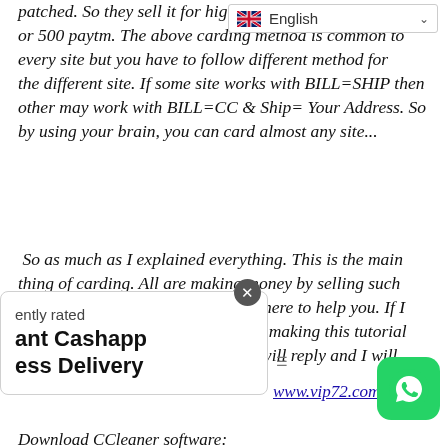patched. So they sell it for high… or 500 paytm. The above carding method is common to every site but you have to follow different method for the different site. If some site works with BILL=SHIP then other may work with BILL=CC & Ship= Your Address. So by using your brain, you can card almost any site...
So as much as I explained everything. This is the main thing of carding. All are making money by selling such methods to the newbie. But I came here to help you. If I forgot to add something in hurry of making this tutorial fast. If then comment below then I will reply and I will
ently rated
ant Cashapp
ess Delivery
www.vip72.com
Download CCleaner software: